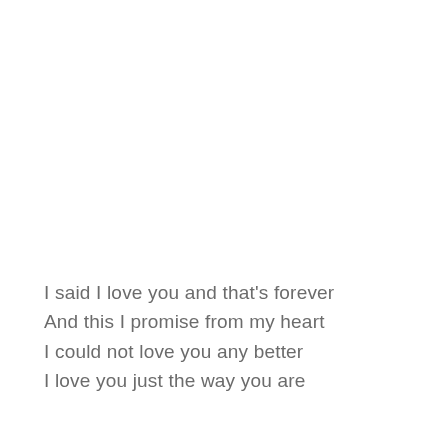I said I love you and that's forever
And this I promise from my heart
I could not love you any better
I love you just the way you are